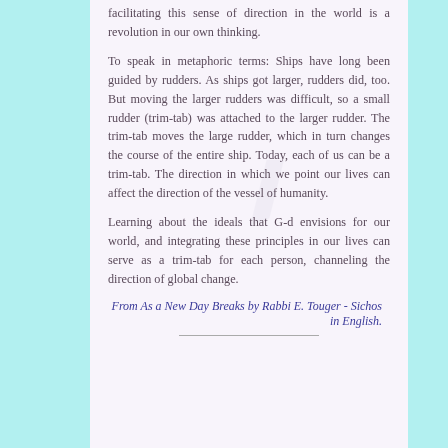facilitating this sense of direction in the world is a revolution in our own thinking.
To speak in metaphoric terms: Ships have long been guided by rudders. As ships got larger, rudders did, too. But moving the larger rudders was difficult, so a small rudder (trim-tab) was attached to the larger rudder. The trim-tab moves the large rudder, which in turn changes the course of the entire ship. Today, each of us can be a trim-tab. The direction in which we point our lives can affect the direction of the vessel of humanity.
Learning about the ideals that G-d envisions for our world, and integrating these principles in our lives can serve as a trim-tab for each person, channeling the direction of global change.
From As a New Day Breaks by Rabbi E. Touger - Sichos in English.